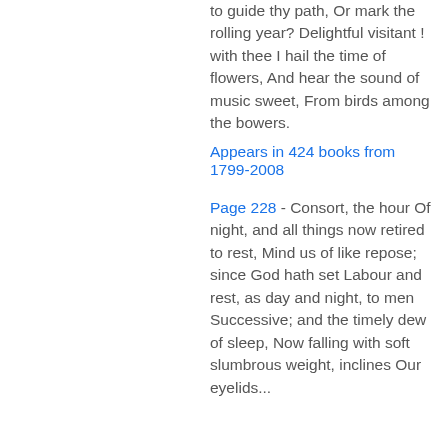to guide thy path, Or mark the rolling year? Delightful visitant ! with thee I hail the time of flowers, And hear the sound of music sweet, From birds among the bowers.
Appears in 424 books from 1799-2008
Page 228 - Consort, the hour Of night, and all things now retired to rest, Mind us of like repose; since God hath set Labour and rest, as day and night, to men Successive; and the timely dew of sleep, Now falling with soft slumbrous weight, inclines Our eyelids...